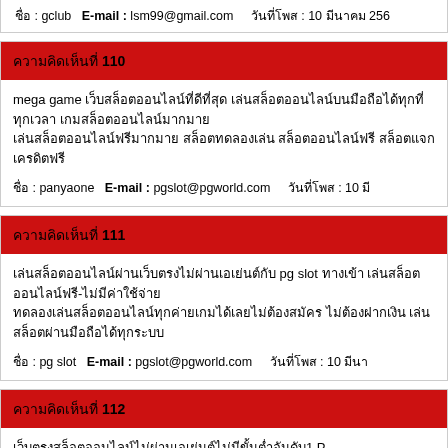ชื่อ : gclub   E-mail : lsm99@gmail.com   วันที่โพส : 10 มีนาคม 256
ความคิดเห็นที่ 110
mega game เว็บสล็อตออนไลน์ที่ดีที่สุด เล่นสล็อตออนไลน์บนมือถือได้ทุกที่ทุกเวลา เกมสล็อตออนไลน์มากมาย สล็อตทดลองเล่น สล็อตออนไลน์ฟรี สล็อตแจกเครดิตฟรี
ชื่อ : panyaone   E-mail : pgslot@pgworld.com   วันที่โพส : 10 มี
ความคิดเห็นที่ 111
เล่นสล็อตออนไลน์ผ่านเว็บตรงไม่ผ่านเอเย่นต์กับ pg slot ทางเข้า เล่นสล็อตออนไลน์ฟรี-ไม่มีค่าใช้จ่าย ทดลองเล่นสล็อตออนไลน์ทุกค่ายเกมได้เลยไม่ต้องสมัคร ไม่ต้องฝากเงิน เล่นสล็อตผ่านมือถือได้ทุกระบบ
ชื่อ : pg slot   E-mail : pgslot@pgworld.com   วันที่โพส : 10 มีนา
ความคิดเห็นที่ 112
เว็บตรงสล็อตออนไลน์ไม่ผ่านเอเย่นต์ไม่มีขั้นต่ำอันดับ1 P